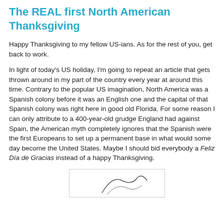The REAL first North American Thanksgiving
Happy Thanksgiving to my fellow US-ians. As for the rest of you, get back to work.
In light of today’s US holiday, I’m going to repeat an article that gets thrown around in my part of the country every year at around this time. Contrary to the popular US imagination, North America was a Spanish colony before it was an English one and the capital of that Spanish colony was right here in good old Florida. For some reason I can only attribute to a 400-year-old grudge England had against Spain, the American myth completely ignores that the Spanish were the first Europeans to set up a permanent base in what would some day become the United States. Maybe I should bid everybody a Feliz Día de Gracias instead of a happy Thanksgiving.
[Figure (illustration): Partial view of an illustration at the bottom of the page, showing curved lines suggesting a figure or historical scene.]